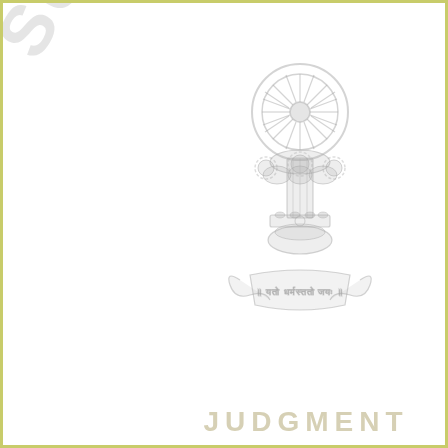[Figure (logo): Indian Supreme Court emblem - Ashoka Chakra (wheel) on top of the Lion Capital of Ashoka with Sanskrit motto 'Yato Dharmastato Jaya' on a banner scroll below]
JUDGMENT
SUPREME (watermark text rotated diagonally on left side)